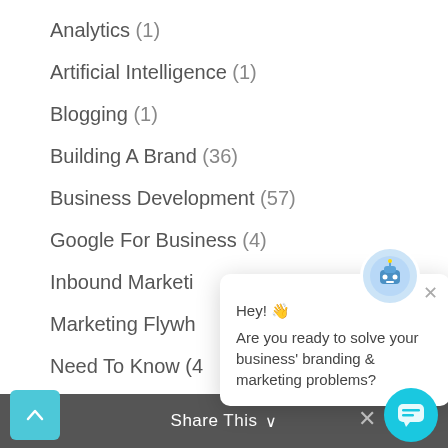Analytics (1)
Artificial Intelligence (1)
Blogging (1)
Building A Brand (36)
Business Development (57)
Google For Business (4)
Inbound Marketi…
Marketing Flywh…
Need To Know (4…
SEO (14)
…ne Rulebook (15)
TikTok Algorithm (9)
[Figure (screenshot): Chat popup with avatar icon, close X, message 'Hey! 👋 Are you ready to solve your business\' branding & marketing problems?']
Share This ∨